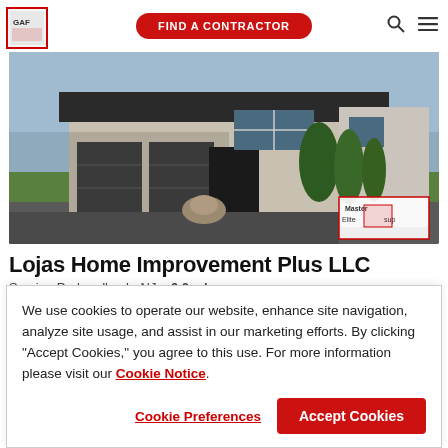GAF | FIND A CONTRACTOR
[Figure (photo): Photo of a large modern two-story home with dark shingle roof, three-car garage, stone and stucco exterior, and landscaped front yard. A GAF Master Elite contractor badge is partially visible in the lower right corner.]
Lojas Home Improvement Plus LLC
Serving Parkandbush, NJ   6.0 ml
4.9 ★★★★★ (52)
We use cookies to operate our website, enhance site navigation, analyze site usage, and assist in our marketing efforts. By clicking "Accept Cookies," you agree to this use. For more information please visit our Cookie Notice.
Cookie Preferences | Accept Cookies